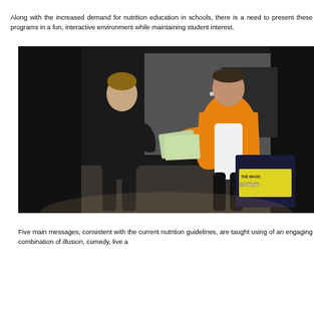Along with the increased demand for nutrition education in schools, there is a need to present these programs in a fun, interactive environment while maintaining student interest.
[Figure (photo): Two people on a stage — one in black clothing facing a person in an orange shirt who is handing green papers. A podium with signage reading 'The Magic Nutrition' is visible in the background against black curtains.]
Five main messages, consistent with the current nutrition guidelines, are taught using of an engaging combination of illusion, comedy, live a...